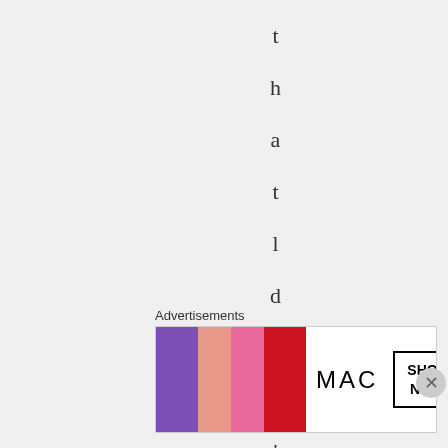that ldin, tdf i
Advertisements
[Figure (photo): MAC Cosmetics advertisement banner with lipsticks in purple, peach, pink, and red colors with MAC logo and SHOP NOW button]